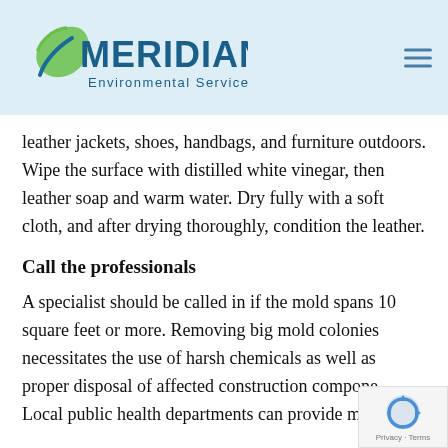[Figure (logo): Meridian Environmental Services, Inc. logo with green checkmark/leaf icon and blue text]
leather jackets, shoes, handbags, and furniture outdoors. Wipe the surface with distilled white vinegar, then leather soap and warm water. Dry fully with a soft cloth, and after drying thoroughly, condition the leather.
Call the professionals
A specialist should be called in if the mold spans 10 square feet or more. Removing big mold colonies necessitates the use of harsh chemicals as well as proper disposal of affected construction components. Local public health departments can provide mold